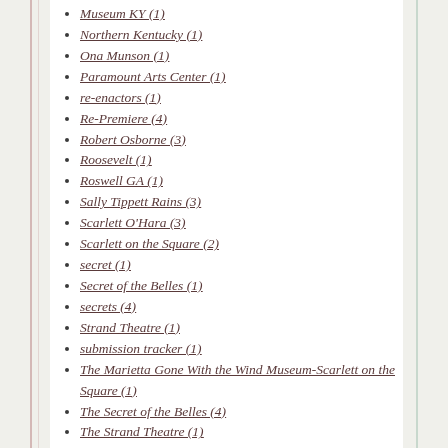Museum KY (1)
Northern Kentucky (1)
Ona Munson (1)
Paramount Arts Center (1)
re-enactors (1)
Re-Premiere (4)
Robert Osborne (3)
Roosevelt (1)
Roswell GA (1)
Sally Tippett Rains (3)
Scarlett O'Hara (3)
Scarlett on the Square (2)
secret (1)
Secret of the Belles (1)
secrets (4)
Strand Theatre (1)
submission tracker (1)
The Marietta Gone With the Wind Museum-Scarlett on the Square (1)
The Secret of the Belles (4)
The Strand Theatre (1)
Titanic (1)
vintage cars (1)
Windies (1)
writers (1)